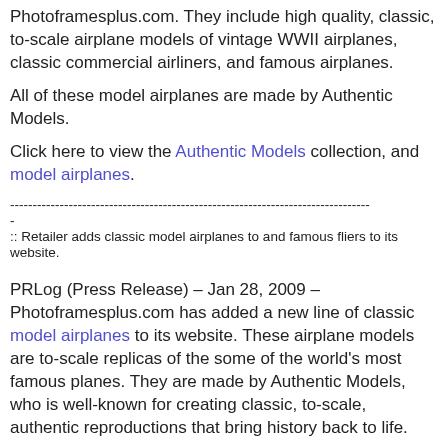Photoframesplus.com. They include high quality, classic, to-scale airplane models of vintage WWII airplanes, classic commercial airliners, and famous airplanes.
All of these model airplanes are made by Authentic Models.
Click here to view the Authentic Models collection, and model airplanes.
--------------------------------------------------------------------------------
-
:: Retailer adds classic model airplanes to and famous fliers to its website.
PRLog (Press Release) – Jan 28, 2009 – Photoframesplus.com has added a new line of classic model airplanes to its website. These airplane models are to-scale replicas of the some of the world's most famous planes. They are made by Authentic Models, who is well-known for creating classic, to-scale, authentic reproductions that bring history back to life.